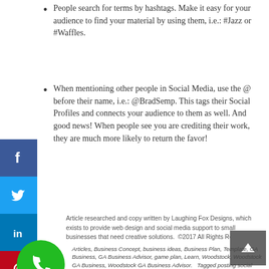People search for terms by hashtags. Make it easy for your audience to find your material by using them, i.e.: #Jazz or #Waffles.
When mentioning other people in Social Media, use the @ before their name, i.e.: @BradSemp. This tags their Social Profiles and connects your audience to them as well. And good news! When people see you are crediting their work, they are much more likely to return the favor!
Article researched and copy written by Laughing Fox Designs, which exists to provide web design and social media support to small businesses that need creative solutions.  ©2017 All Rights Reserved
Articles, Business Concept, business ideas, Business Plan, Template, GA Business, GA Business Advisor, game plan, Learn, Woodstock, Woodstock GA Business, Woodstock GA Business Advisor.  Tagged posting social media, Social Media, social media